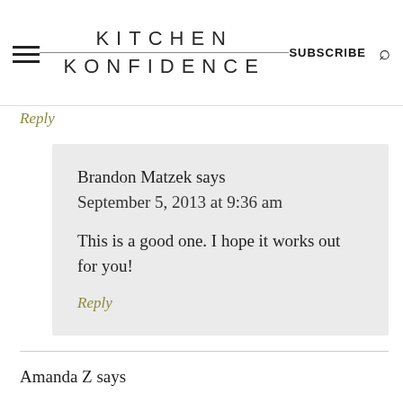KITCHEN KONFIDENCE | SUBSCRIBE
Reply
Brandon Matzek says
September 5, 2013 at 9:36 am

This is a good one. I hope it works out for you!

Reply
Amanda Z says